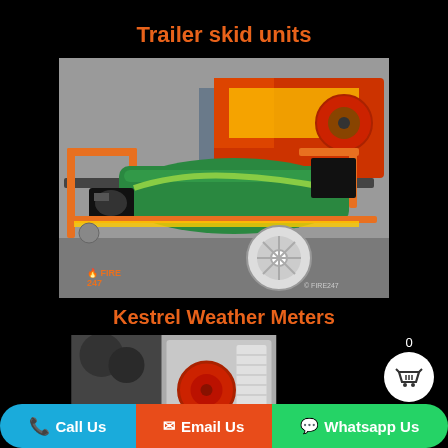Trailer skid units
[Figure (photo): Orange-framed fire trailer skid unit with green water tank, hose reel, and engine, parked in front of fire station. Fire247 logo visible.]
Kestrel Weather Meters
[Figure (photo): Partial image showing what appears to be weather meter or equipment components.]
0
Call Us
Email Us
Whatsapp Us